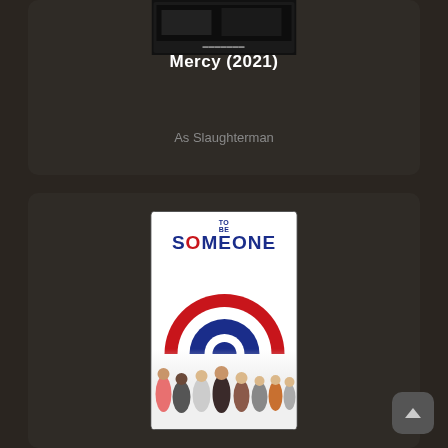[Figure (screenshot): Movie poster for Mercy (2021) - dark background with small poster image at top]
Mercy (2021)
As Slaughterman
[Figure (screenshot): Movie poster for To Be Someone - white background with red/blue/white target bullseye design and group of people at bottom. Title reads TO BE SOMEONE in blue block letters with a red O.]